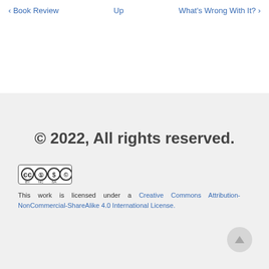‹ Book Review   Up   What's Wrong With It? ›
© 2022, All rights reserved.
[Figure (logo): Creative Commons BY-NC-SA license badge]
This work is licensed under a Creative Commons Attribution-NonCommercial-ShareAlike 4.0 International License.